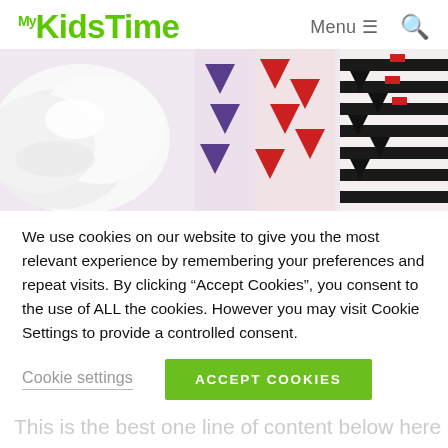My KidsTime — Menu (hamburger) — Search
[Figure (photo): Row of colorful children's socks with triangle patterns — white, purple, red, and black and white striped socks laid flat.]
We use cookies on our website to give you the most relevant experience by remembering your preferences and repeat visits. By clicking “Accept Cookies”, you consent to the use of ALL the cookies. However you may visit Cookie Settings to provide a controlled consent.
Cookie settings   ACCEPT COOKIES